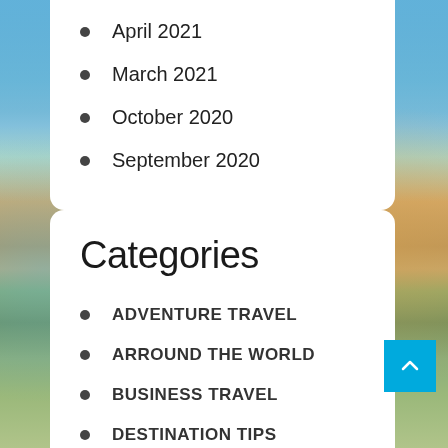April 2021
March 2021
October 2020
September 2020
Categories
ADVENTURE TRAVEL
ARROUND THE WORLD
BUSINESS TRAVEL
DESTINATION TIPS
HOTELS